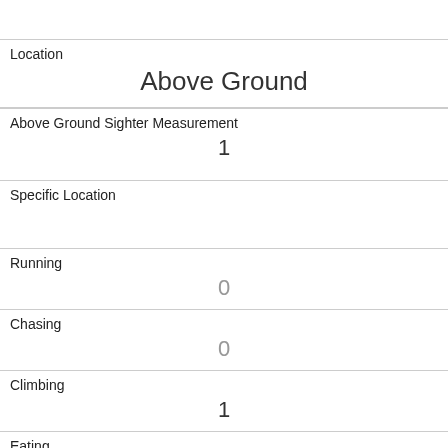Location
Above Ground
Above Ground Sighter Measurement
1
Specific Location
Running
0
Chasing
0
Climbing
1
Eating
0
Foraging
0
Other Activities
Kuks